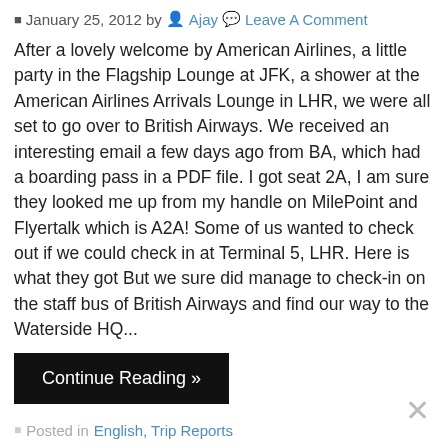January 25, 2012 by Ajay Leave A Comment
After a lovely welcome by American Airlines, a little party in the Flagship Lounge at JFK, a shower at the American Airlines Arrivals Lounge in LHR, we were all set to go over to British Airways. We received an interesting email a few days ago from BA, which had a boarding pass in a PDF file. I got seat 2A, I am sure they looked me up from my handle on MilePoint and Flyertalk which is A2A! Some of us wanted to check out if we could check in at Terminal 5, LHR. Here is what they got But we sure did manage to check-in on the staff bus of British Airways and find our way to the Waterside HQ...
Continue Reading »
Posted in English, Trip Reports